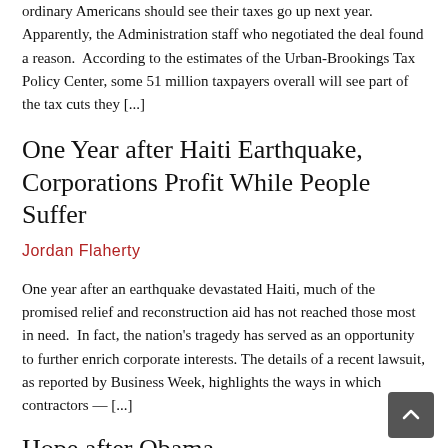ordinary Americans should see their taxes go up next year.  Apparently, the Administration staff who negotiated the deal found a reason.  According to the estimates of the Urban-Brookings Tax Policy Center, some 51 million taxpayers overall will see part of the tax cuts they [...]
One Year after Haiti Earthquake, Corporations Profit While People Suffer
Jordan Flaherty
One year after an earthquake devastated Haiti, much of the promised relief and reconstruction aid has not reached those most in need.  In fact, the nation's tragedy has served as an opportunity to further enrich corporate interests. The details of a recent lawsuit, as reported by Business Week, highlights the ways in which contractors — [...]
Hope after Obama